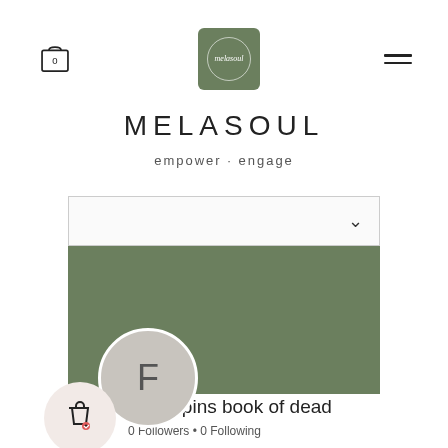[Figure (screenshot): Navigation bar with cart icon (showing 0), green logo box with circular emblem, and hamburger menu icon]
MELASOUL
empower · engage
[Figure (screenshot): Dropdown selector bar with chevron arrow]
[Figure (screenshot): Green profile banner with Message and Follow buttons, avatar circle with letter F, wishlist bag icon circle, profile name 'Free spins book of dead', and follower stats '0 Followers • 0 Following']
Free spins book of dead
0 Followers • 0 Following